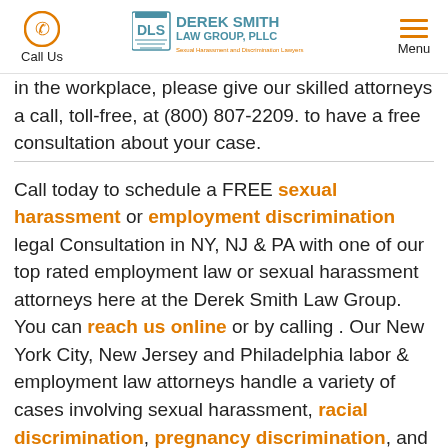Call Us | Derek Smith Law Group, PLLC | Menu
in the workplace, please give our skilled attorneys a call, toll-free, at (800) 807-2209. to have a free consultation about your case.
Call today to schedule a FREE sexual harassment or employment discrimination legal Consultation in NY, NJ & PA with one of our top rated employment law or sexual harassment attorneys here at the Derek Smith Law Group. You can reach us online or by calling . Our New York City, New Jersey and Philadelphia labor & employment law attorneys handle a variety of cases involving sexual harassment, racial discrimination, pregnancy discrimination, and other employment-related claims. We serve clients throughout New York, including Manhattan, Brooklyn, Queens, the Bronx and Staten Island, Westchester